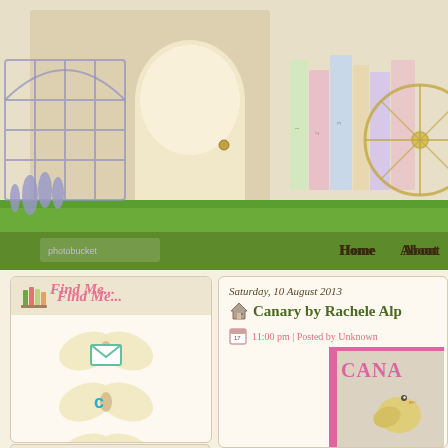[Figure (screenshot): Blog website screenshot showing decorative header with bookshelf illustration, green grass strip, navigation bar with Home and About links, left sidebar with Find Me section showing butterfly social media icons, and main post area showing Saturday 10 August 2013 post titled Canary by Rachele Alp with a book cover image]
Home | About
Find Me...
Saturday, 10 August 2013
Canary by Rachele Alp
11:00 pm | Posted by Unknown